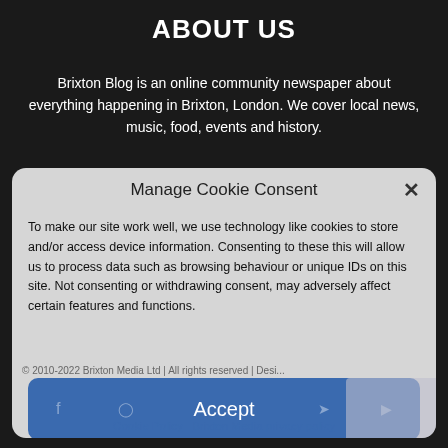ABOUT US
Brixton Blog is an online community newspaper about everything happening in Brixton, London. We cover local news, music, food, events and history.
Contact us: info@brixtonblog.com
Manage Cookie Consent
To make our site work well, we use technology like cookies to store and/or access device information. Consenting to these this will allow us to process data such as browsing behaviour or unique IDs on this site. Not consenting or withdrawing consent, may adversely affect certain features and functions.
Accept
Deny
Brixton Bugle   Bugle stockists   Cookie Policy (UK)
View preferences
© 2010-2022 Brixton Media Ltd | All rights reserved | Design by brixtonblog
Cookie Policy   Brixton Media privacy policy